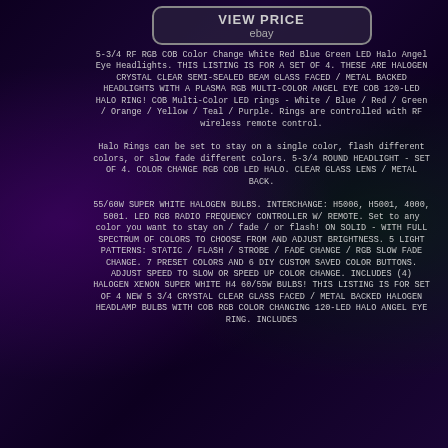[Figure (logo): eBay logo with 'VIEW PRICE' text in a rounded rectangle box]
5-3/4 RF RGB COB Color Change White Red Blue Green LED Halo Angel Eye Headlights. THIS LISTING IS FOR A SET OF 4. THESE ARE HALOGEN CRYSTAL CLEAR SEMI-SEALED BEAM GLASS FACED / METAL BACKED HEADLIGHTS WITH A PLASMA RGB MULTI-COLOR ANGEL EYE COB 120-LED HALO RING! COB Multi-Color LED rings - White / Blue / Red / Green / Orange / Yellow / Teal / Purple. Rings are controlled with RF wireless remote control.
Halo Rings can be set to stay on a single color, flash different colors, or slow fade different colors. 5-3/4 ROUND HEADLIGHT - SET OF 4. COLOR CHANGE RGB COB LED HALO. CLEAR GLASS LENS / METAL BACK.
55/60W SUPER WHITE HALOGEN BULBS. INTERCHANGE: H5006, H5001, 4000, 5001. LED RGB RADIO FREQUENCY CONTROLLER W/ REMOTE. Set to any color you want to stay on / fade / or flash! ON SOLID - WITH FULL SPECTRUM OF COLORS TO CHOOSE FROM AND ADJUST BRIGHTNESS. 5 LIGHT PATTERNS: STATIC / FLASH / STROBE / FADE CHANGE / RGB SLOW FADE CHANGE. 7 PRESET COLORS AND 6 DIY CUSTOM SAVED COLOR BUTTONS. ADJUST SPEED TO SLOW OR SPEED UP COLOR CHANGE. INCLUDES (4) HALOGEN XENON SUPER WHITE H4 60/55W BULBS! THIS LISTING IS FOR SET OF 4 NEW 5 3/4 CRYSTAL CLEAR GLASS FACED / METAL BACKED HALOGEN HEADLAMP BULBS WITH COB RGB COLOR CHANGING 120-LED HALO ANGEL EYE RING. INCLUDES